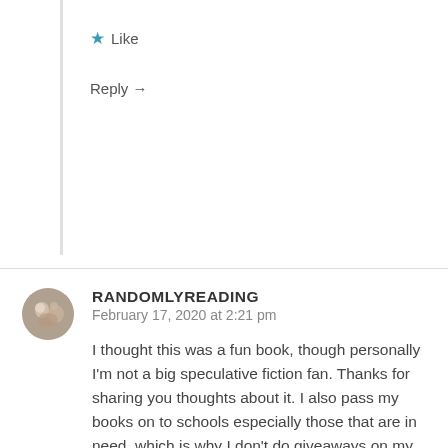★ Like
Reply →
RANDOMLYREADING
February 17, 2020 at 2:21 pm
I thought this was a fun book, though personally I'm not a big speculative fiction fan. Thanks for sharing you thoughts about it. I also pass my books on to schools especially those that are in need, which is why I don't do giveaways on my blog.
★ Liked by 1 person
Reply →